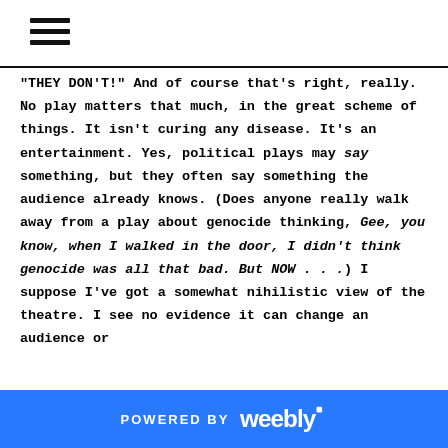"THEY DON'T!" And of course that's right, really. No play matters that much, in the great scheme of things. It isn't curing any disease. It's an entertainment. Yes, political plays may say something, but they often say something the audience already knows. (Does anyone really walk away from a play about genocide thinking, Gee, you know, when I walked in the door, I didn't think genocide was all that bad. But NOW . . .) I suppose I've got a somewhat nihilistic view of the theatre. I see no evidence it can change an audience or
POWERED BY weebly